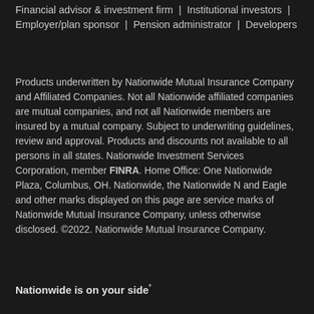Financial advisor & investment firm | Institutional investors | Employer/plan sponsor | Pension administrator | Developers
Products underwritten by Nationwide Mutual Insurance Company and Affiliated Companies. Not all Nationwide affiliated companies are mutual companies, and not all Nationwide members are insured by a mutual company. Subject to underwriting guidelines, review and approval. Products and discounts not available to all persons in all states. Nationwide Investment Services Corporation, member FINRA. Home Office: One Nationwide Plaza, Columbus, OH. Nationwide, the Nationwide N and Eagle and other marks displayed on this page are service marks of Nationwide Mutual Insurance Company, unless otherwise disclosed. ©2022. Nationwide Mutual Insurance Company.
Nationwide is on your side*